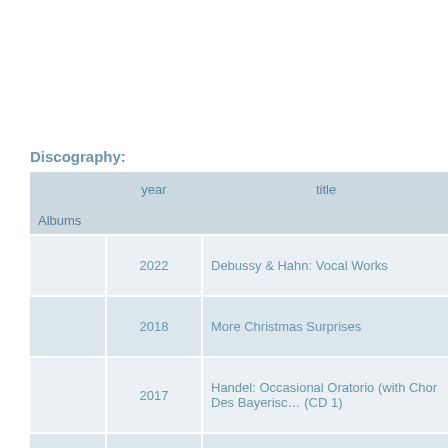Discography:
|  | year | title |
| --- | --- | --- |
| Albums |  |  |
|  | 2022 | Debussy & Hahn: Vocal Works |
|  | 2018 | More Christmas Surprises |
|  | 2017 | Handel: Occasional Oratorio (with Chor Des Bayerischen Rundfunks) (CD 1) |
|  | 2017 | Handel: Occasional Oratorio (with Chor Des Bayerisco... |